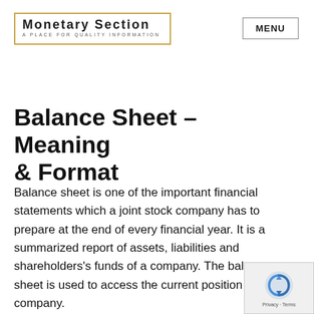Monetary Section – A PLACE FOR QUALITY INFORMATION | MENU
Balance Sheet – Meaning & Format
Balance sheet is one of the important financial statements which a joint stock company has to prepare at the end of every financial year. It is a summarized report of assets, liabilities and shareholders's funds of a company. The balance sheet is used to access the current position of a company.